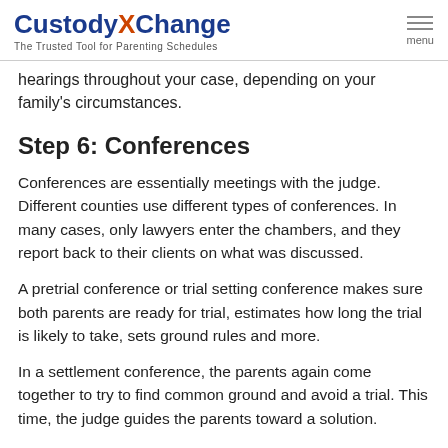CustodyXChange — The Trusted Tool for Parenting Schedules
hearings throughout your case, depending on your family's circumstances.
Step 6: Conferences
Conferences are essentially meetings with the judge. Different counties use different types of conferences. In many cases, only lawyers enter the chambers, and they report back to their clients on what was discussed.
A pretrial conference or trial setting conference makes sure both parents are ready for trial, estimates how long the trial is likely to take, sets ground rules and more.
In a settlement conference, the parents again come together to try to find common ground and avoid a trial. This time, the judge guides the parents toward a solution.